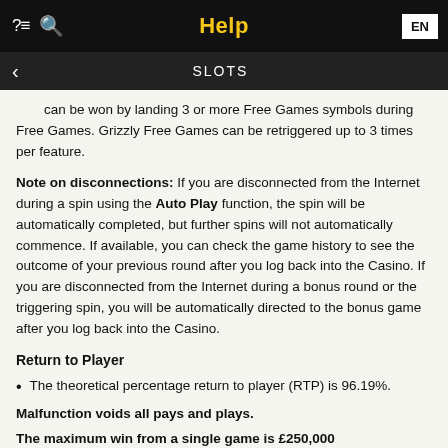Help
SLOTS
can be won by landing 3 or more Free Games symbols during Free Games. Grizzly Free Games can be retriggered up to 3 times per feature.
Note on disconnections: If you are disconnected from the Internet during a spin using the Auto Play function, the spin will be automatically completed, but further spins will not automatically commence. If available, you can check the game history to see the outcome of your previous round after you log back into the Casino. If you are disconnected from the Internet during a bonus round or the triggering spin, you will be automatically directed to the bonus game after you log back into the Casino.
Return to Player
The theoretical percentage return to player (RTP) is 96.19%.
Malfunction voids all pays and plays.
The maximum win from a single game is £250,000
Last modification date: 10/14/2020